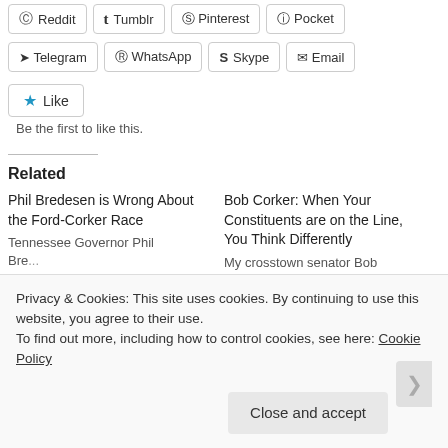Reddit | Tumblr | Pinterest | Pocket
Telegram | WhatsApp | Skype | Email
Like - Be the first to like this.
Related
Phil Bredesen is Wrong About the Ford-Corker Race
Tennessee Governor Phil Bre...
Bob Corker: When Your Constituents are on the Line, You Think Differently
My crosstown senator Bob Cor...
Privacy & Cookies: This site uses cookies. By continuing to use this website, you agree to their use.
To find out more, including how to control cookies, see here: Cookie Policy